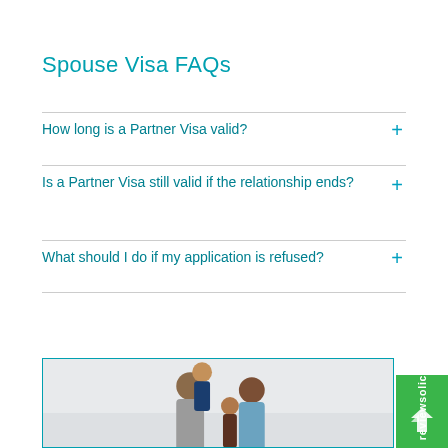Spouse Visa FAQs
How long is a Partner Visa valid?
Is a Partner Visa still valid if the relationship ends?
What should I do if my application is refused?
[Figure (photo): Family photo showing a man, woman, and two children smiling against a light background, partially visible at bottom of page]
reviewsolicitors